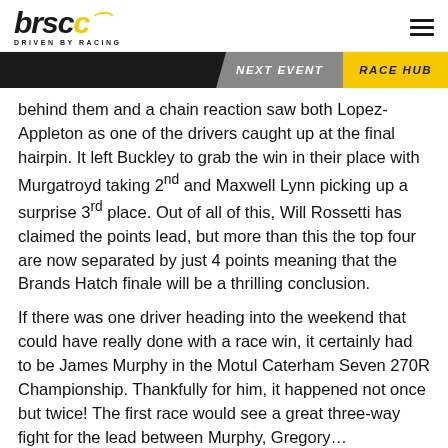brscc — DRIVEN BY RACING | NEXT EVENT | RACE HUB
behind them and a chain reaction saw both Lopez-Appleton as one of the drivers caught up at the final hairpin. It left Buckley to grab the win in their place with Murgatroyd taking 2nd and Maxwell Lynn picking up a surprise 3rd place. Out of all of this, Will Rossetti has claimed the points lead, but more than this the top four are now separated by just 4 points meaning that the Brands Hatch finale will be a thrilling conclusion.
If there was one driver heading into the weekend that could have really done with a race win, it certainly had to be James Murphy in the Motul Caterham Seven 270R Championship. Thankfully for him, it happened not once but twice! The first race would see a great three-way fight for the lead between Murphy, Gregory…